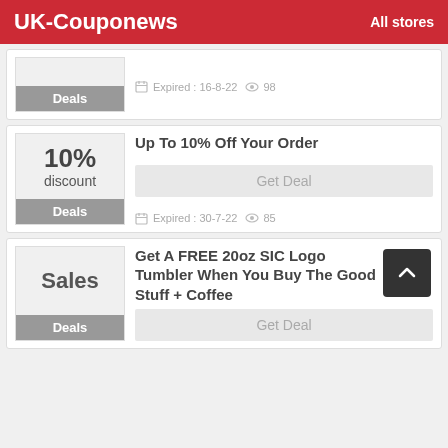UK-Couponews   All stores
Deals   Expired : 16-8-22   98
10% discount   Up To 10% Off Your Order   Deals   Get Deal   Expired : 30-7-22   85
Sales   Get A FREE 20oz SIC Logo Tumbler When You Buy The Good Stuff + Coffee   Deals   Get Deal